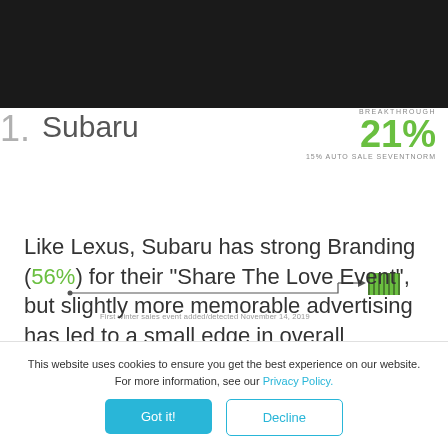[Figure (infographic): Dark header bar at top of page, ranking display showing '1. Subaru' with a horizontal line connecting to a striped green bar graphic, breakthrough stat of 21% in green, '15% AUTO SALE SEVENTNORM' label below, and small caption 'First winter sales event added/detected November 14, 2019']
Like Lexus, Subaru has strong Branding (56%) for their "Share The Love Event", but slightly more memorable advertising has led to a small edge in overall Breakthrough.  Subaru's winter event
This website uses cookies to ensure you get the best experience on our website. For more information, see our Privacy Policy.
Got it!
Decline